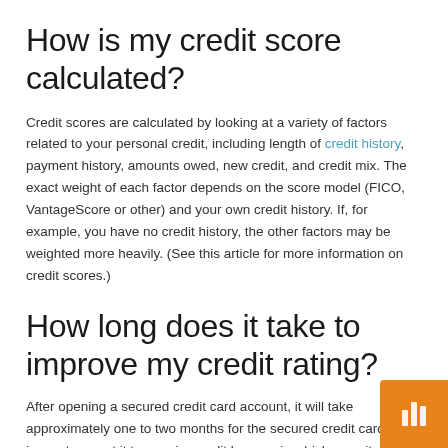How is my credit score calculated?
Credit scores are calculated by looking at a variety of factors related to your personal credit, including length of credit history, payment history, amounts owed, new credit, and credit mix. The exact weight of each factor depends on the score model (FICO, VantageScore or other) and your own credit history. If, for example, you have no credit history, the other factors may be weighted more heavily. (See this article for more information on credit scores.)
How long does it take to improve my credit rating?
After opening a secured credit card account, it will take approximately one to two months for the secured credit card issuer to report it to a major credit bureau, in which case it will begin to impact your credit report and your credit score. It then takes several more months before account activity is significant enough to make a